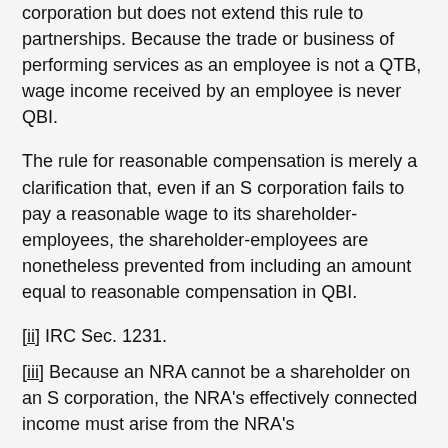corporation but does not extend this rule to partnerships. Because the trade or business of performing services as an employee is not a QTB, wage income received by an employee is never QBI.
The rule for reasonable compensation is merely a clarification that, even if an S corporation fails to pay a reasonable wage to its shareholder-employees, the shareholder-employees are nonetheless prevented from including an amount equal to reasonable compensation in QBI.
[ii] IRC Sec. 1231.
[iii] Because an NRA cannot be a shareholder on an S corporation, the NRA's effectively connected income must arise from the NRA's